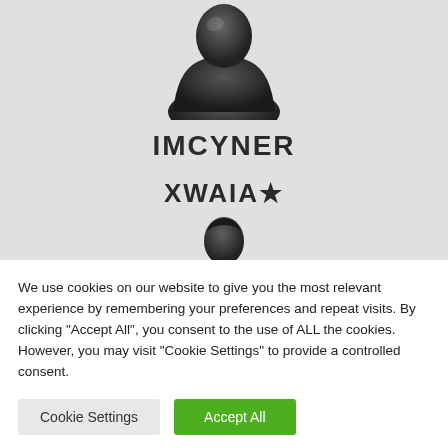[Figure (screenshot): Screenshot of a website showing two user profiles: IMCYNER with a dark bust avatar at top, and XWAIA★ with a smaller dark head avatar below, on a light grey background.]
We use cookies on our website to give you the most relevant experience by remembering your preferences and repeat visits. By clicking "Accept All", you consent to the use of ALL the cookies. However, you may visit "Cookie Settings" to provide a controlled consent.